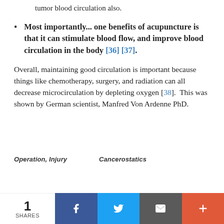tumor blood circulation also.
Most importantly... one benefits of acupuncture is that it can stimulate blood flow, and improve blood circulation in the body [36] [37].
Overall, maintaining good circulation is important because things like chemotherapy, surgery, and radiation can all decrease microcirculation by depleting oxygen [38].  This was shown by German scientist, Manfred Von Ardenne PhD.
[Figure (other): Partial image at bottom showing table headers: Operation, Injury, Cancerostatics]
1 SHARES | Facebook share button | Twitter share button | Email share button | More share button